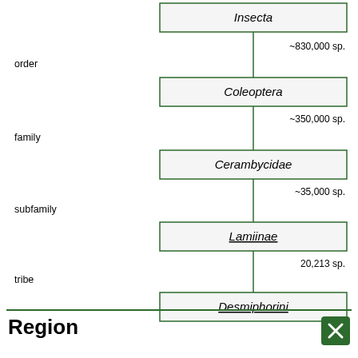[Figure (flowchart): Taxonomic hierarchy flowchart showing classification from Insecta down to Parischnolea, with rank labels (order, family, subfamily, tribe, genus) and species counts (~830,000 sp., ~350,000 sp., ~35,000 sp., 20,213 sp., 1,568 sp., 2 sp.) connecting boxes with vertical lines.]
Region
[Figure (other): Green close/X button]